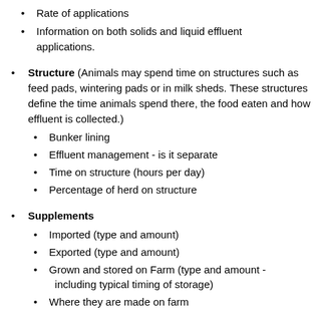Rate of applications
Information on both solids and liquid effluent applications.
Structure (Animals may spend time on structures such as feed pads, wintering pads or in milk sheds. These structures define the time animals spend there, the food eaten and how effluent is collected.)
Bunker lining
Effluent management - is it separate
Time on structure (hours per day)
Percentage of herd on structure
Supplements
Imported (type and amount)
Exported (type and amount)
Grown and stored on Farm (type and amount - including typical timing of storage)
Where they are made on farm